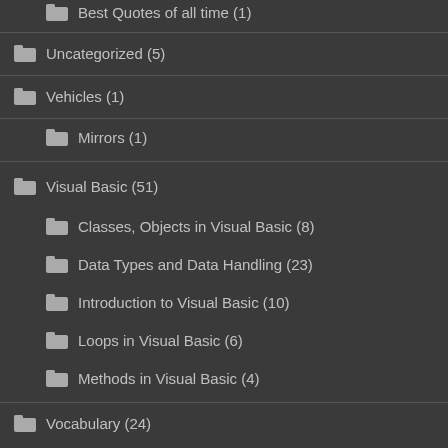Best Quotes of all time (1)
Uncategorized (5)
Vehicles (1)
Mirrors (1)
Visual Basic (51)
Classes, Objects in Visual Basic (8)
Data Types and Data Handling (23)
Introduction to Visual Basic (10)
Loops in Visual Basic (6)
Methods in Visual Basic (4)
Vocabulary (24)
Vocabulary English (24)